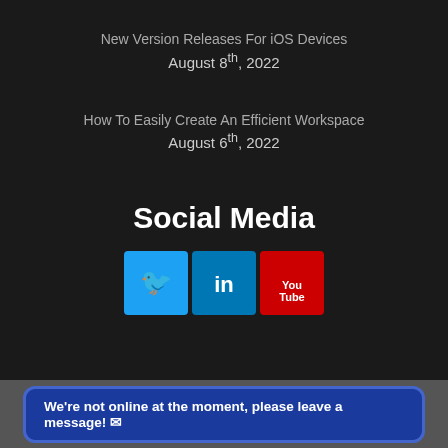New Version Releases For iOS Devices
August 8th, 2022
How To Easily Create An Efficient Workspace
August 6th, 2022
Social Media
[Figure (illustration): Three social media icons: Twitter (blue bird), LinkedIn (blue 'in'), YouTube (red play button)]
We're not online at the moment, please leave a message!